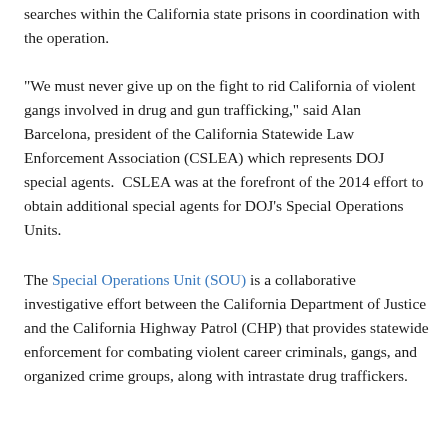searches within the California state prisons in coordination with the operation.
"We must never give up on the fight to rid California of violent gangs involved in drug and gun trafficking," said Alan Barcelona, president of the California Statewide Law Enforcement Association (CSLEA) which represents DOJ special agents.  CSLEA was at the forefront of the 2014 effort to obtain additional special agents for DOJ's Special Operations Units.
The Special Operations Unit (SOU) is a collaborative investigative effort between the California Department of Justice and the California Highway Patrol (CHP) that provides statewide enforcement for combating violent career criminals, gangs, and organized crime groups, along with intrastate drug traffickers.